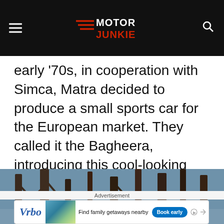Motor Junkie
early '70s, in cooperation with Simca, Matra decided to produce a small sports car for the European market. They called it the Bagheera, introducing this cool-looking three-seater in 1973.
[Figure (photo): Outdoor winter scene with bare trees and a blueish-grey sky in the background]
Advertisement
[Figure (other): Vrbo advertisement banner: Find family getaways nearby with Book early button]